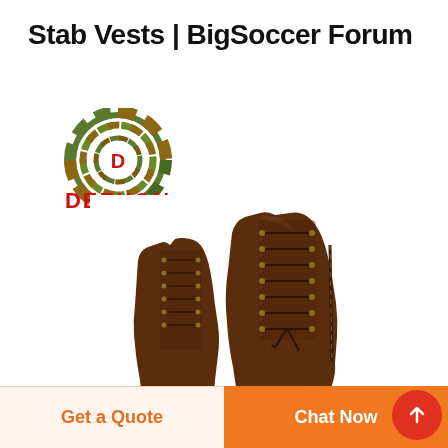Stab Vests | BigSoccer Forum
[Figure (logo): DEEKON brand logo: circular camouflage-patterned target design with red letter D in center, above bold red text DEEKON]
[Figure (photo): Two dark brown leather lace-up boots on white background]
Get a Quote
Chat Now